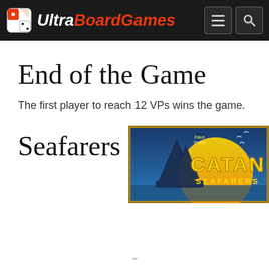UltraBoardGames
End of the Game
The first player to reach 12 VPs wins the game.
Seafarers
[Figure (photo): Catan Seafarers board game box art showing a sailing ship against a golden sun with the text CATAN SEAFARERS]